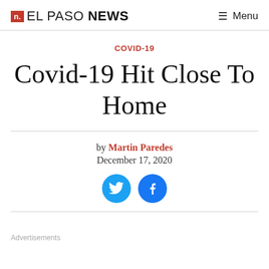n. EL PASO NEWS  ≡ Menu
COVID-19
Covid-19 Hit Close To Home
by Martin Paredes
December 17, 2020
[Figure (other): Twitter and Facebook social share buttons (circular blue icons)]
Advertisements